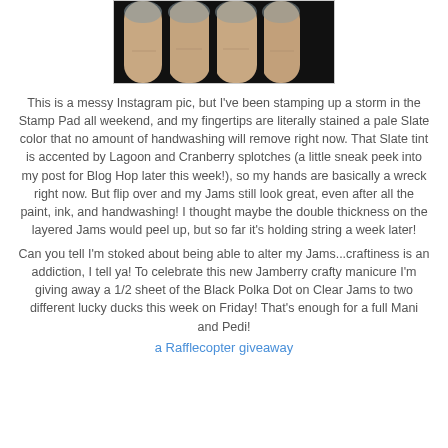[Figure (photo): Close-up photo of fingers with ink-stained fingertips, showing pale slate color stains on the skin]
This is a messy Instagram pic, but I've been stamping up a storm in the Stamp Pad all weekend, and my fingertips are literally stained a pale Slate color that no amount of handwashing will remove right now. That Slate tint is accented by Lagoon and Cranberry splotches (a little sneak peek into my post for Blog Hop later this week!), so my hands are basically a wreck right now. But flip over and my Jams still look great, even after all the paint, ink, and handwashing! I thought maybe the double thickness on the layered Jams would peel up, but so far it's holding string a week later!
Can you tell I'm stoked about being able to alter my Jams...craftiness is an addiction, I tell ya! To celebrate this new Jamberry crafty manicure I'm giving away a 1/2 sheet of the Black Polka Dot on Clear Jams to two different lucky ducks this week on Friday! That's enough for a full Mani and Pedi!
a Rafflecopter giveaway